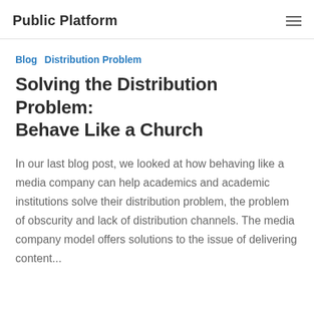Public Platform
Blog  Distribution Problem
Solving the Distribution Problem: Behave Like a Church
In our last blog post, we looked at how behaving like a media company can help academics and academic institutions solve their distribution problem, the problem of obscurity and lack of distribution channels. The media company model offers solutions to the issue of delivering content...